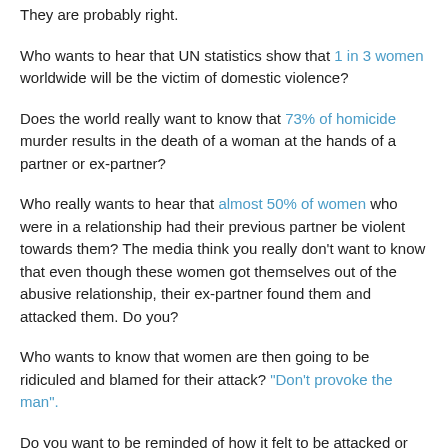They are probably right.
Who wants to hear that UN statistics show that 1 in 3 women worldwide will be the victim of domestic violence?
Does the world really want to know that 73% of homicide murder results in the death of a woman at the hands of a partner or ex-partner?
Who really wants to hear that almost 50% of women who were in a relationship had their previous partner be violent towards them? The media think you really don't want to know that even though these women got themselves out of the abusive relationship, their ex-partner found them and attacked them. Do you?
Who wants to know that women are then going to be ridiculed and blamed for their attack? "Don't provoke the man".
Do you want to be reminded of how it felt to be attacked or attack?
Do we really think that by ignoring the FACT of the enormity of the violence that it will go away? The 'ostrich' approach isn't working. Obviously.